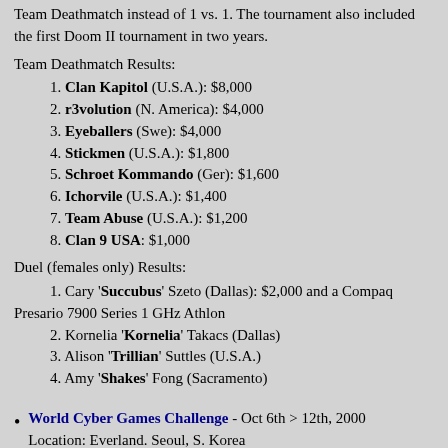Team Deathmatch instead of 1 vs. 1. The tournament also included the first Doom II tournament in two years.
Team Deathmatch Results:
1. Clan Kapitol (U.S.A.): $8,000
2. r3volution (N. America): $4,000
3. Eyeballers (Swe): $4,000
4. Stickmen (U.S.A.): $1,800
5. Schroet Kommando (Ger): $1,600
6. Ichorvile (U.S.A.): $1,400
7. Team Abuse (U.S.A.): $1,200
8. Clan 9 USA: $1,000
Duel (females only) Results:
1. Cary 'Succubus' Szeto (Dallas): $2,000 and a Compaq Presario 7900 Series 1 GHz Athlon
2. Kornelia 'Kornelia' Takacs (Dallas)
3. Alison 'Trillian' Suttles (U.S.A.)
4. Amy 'Shakes' Fong (Sacramento)
World Cyber Games Challenge - Oct 6th > 12th, 2000
Location: Everland. Seoul, S. Korea
Attendance: 174 players from 17 countries. Many of these